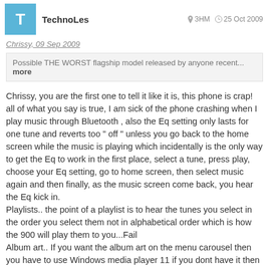TechnoLes  3HM  25 Oct 2009
Chrissy, 09 Sep 2009
Possible THE WORST flagship model released by anyone recent... more
Chrissy, you are the first one to tell it like it is, this phone is crap! all of what you say is true, I am sick of the phone crashing when I play music through Bluetooth , also the Eq setting only lasts for one tune and reverts too " off " unless you go back to the home screen while the music is playing which incidentally is the only way to get the Eq to work in the first place, select a tune, press play, choose your Eq setting, go to home screen, then select music again and then finally, as the music screen come back, you hear the Eq kick in.
Playlists.. the point of a playlist is to hear the tunes you select in the order you select them not in alphabetical order which is how the 900 will play them to you...Fail
Album art.. If you want the album art on the menu carousel then you have to use Windows media player 11 if you dont have it then you wont have any pretty pictures just images of blank Cds, unless you know a bit about operating a PC there is no way that the tunes you put in will appear as you expected, for example, choose ten random mp3s, put the in a folder and name it, i.e. my favorites album, then